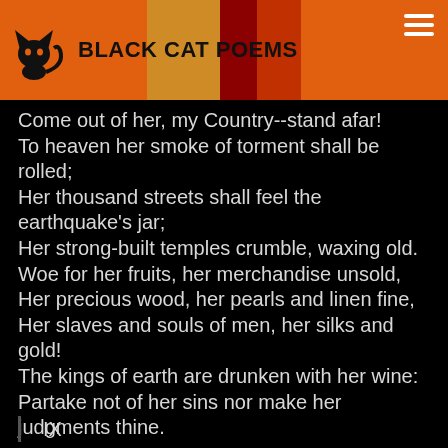BLACK CAT POEMS
Come out of her, my Country--stand afar!
To heaven her smoke of torment shall be rolled;
Her thousand streets shall feel the earthquake's jar;
Her strong-built temples crumble, waxing old.
Woe for her fruits, her merchandise unsold,
Her precious wood, her pearls and linen fine,
Her slaves and souls of men, her silks and gold!
The kings of earth are drunken with her wine:
Partake not of her sins nor make her judgments thine.
IX